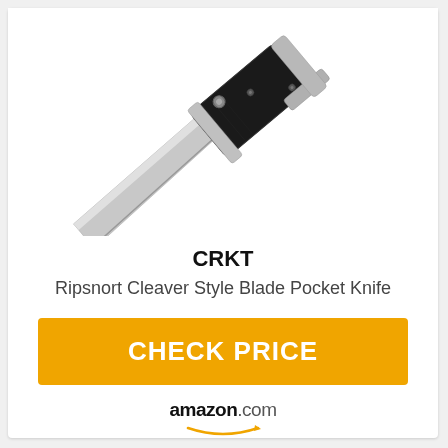[Figure (photo): A CRKT Ripsnort cleaver style folding pocket knife with a silver blade and black G10 handle, photographed diagonally on a white background.]
CRKT
Ripsnort Cleaver Style Blade Pocket Knife
CHECK PRICE
[Figure (logo): amazon.com logo with orange smile arrow beneath]